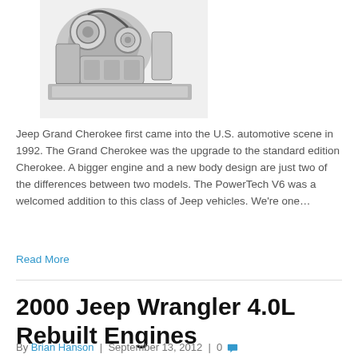[Figure (photo): Jeep Grand Cherokee engine (partial view of engine assembly with belts and pulleys, black and white/grayscale photo)]
Jeep Grand Cherokee first came into the U.S. automotive scene in 1992. The Grand Cherokee was the upgrade to the standard edition Cherokee. A bigger engine and a new body design are just two of the differences between two models. The PowerTech V6 was a welcomed addition to this class of Jeep vehicles. We're one…
Read More
2000 Jeep Wrangler 4.0L Rebuilt Engines
By Brian Hanson | September 13, 2012 | 0